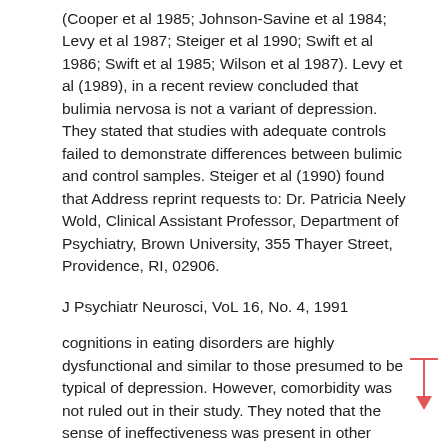(Cooper et al 1985; Johnson-Savine et al 1984; Levy et al 1987; Steiger et al 1990; Swift et al 1986; Swift et al 1985; Wilson et al 1987). Levy et al (1989), in a recent review concluded that bulimia nervosa is not a variant of depression. They stated that studies with adequate controls failed to demonstrate differences between bulimic and control samples. Steiger et al (1990) found that Address reprint requests to: Dr. Patricia Neely Wold, Clinical Assistant Professor, Department of Psychiatry, Brown University, 355 Thayer Street, Providence, RI, 02906.
J Psychiatr Neurosci, VoL 16, No. 4, 1991
cognitions in eating disorders are highly dysfunctional and similar to those presumed to be typical of depression. However, comorbidity was not ruled out in their study. They noted that the sense of ineffectiveness was present in other diagnoses, in contrast to Bruch's (1972) contention that this is a hallmark of eating disorders. They suggest that common psychological processes explain the comorbidity between eating, affective, and character disorders. Cooper et al (1985) and Norring (1990) have